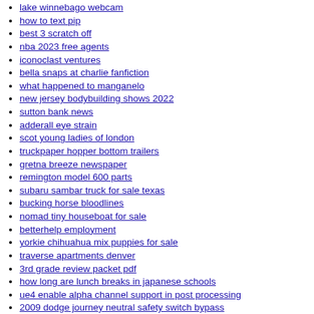lake winnebago webcam
how to text pip
best 3 scratch off
nba 2023 free agents
iconoclast ventures
bella snaps at charlie fanfiction
what happened to manganelo
new jersey bodybuilding shows 2022
sutton bank news
adderall eye strain
scot young ladies of london
truckpaper hopper bottom trailers
gretna breeze newspaper
remington model 600 parts
subaru sambar truck for sale texas
bucking horse bloodlines
nomad tiny houseboat for sale
betterhelp employment
yorkie chihuahua mix puppies for sale
traverse apartments denver
3rd grade review packet pdf
how long are lunch breaks in japanese schools
ue4 enable alpha channel support in post processing
2009 dodge journey neutral safety switch bypass